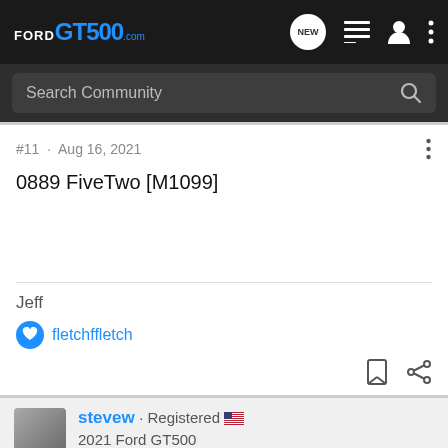FORD GT500.com
Search Community
#11 · Aug 16, 2021
0889 FiveTwo [M1099]
Jeff
fletchffletch
stevew · Registered
2021 Ford GT500